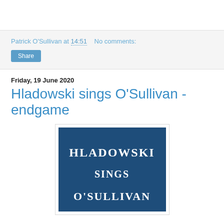Patrick O'Sullivan at 14:51   No comments:
Share
Friday, 19 June 2020
Hladowski sings O'Sullivan - endgame
[Figure (photo): Album cover with dark blue background showing text 'HLADOWSKI SINGS O'SULLIVAN' in white Art Nouveau style lettering]